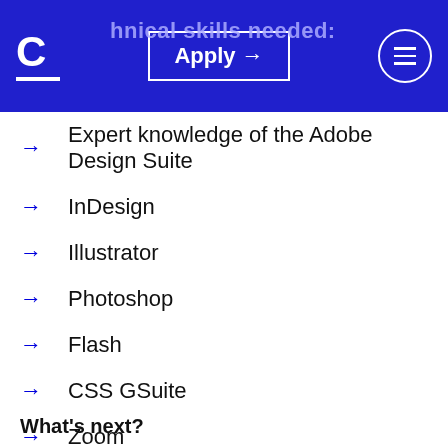hnical skills needed: Apply →
Expert knowledge of the Adobe Design Suite
InDesign
Illustrator
Photoshop
Flash
CSS GSuite
Zoom
Understanding of HubSpot
monday.com
What's next?